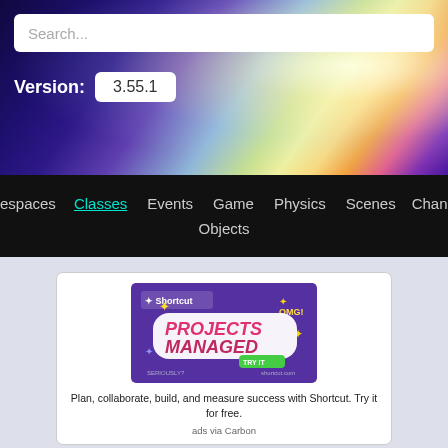[Figure (screenshot): Search bar on colorful hero background with rainbow/aurora gradient]
Search...
Version: 3.55.1
espaces  Classes  Events  Game  Physics  Scenes  Chang  Objects
[Figure (illustration): Shortcut ad banner: Projects Managed, purple background with sticker-style text]
Plan, collaborate, build, and measure success with Shortcut. Try it for free.
ads via Carbon